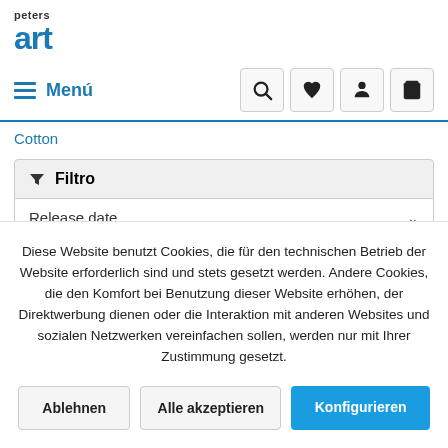[Figure (logo): Peters Art logo — 'peters' in small bold text above large bold blue 'art' lettering]
≡  Menú
Cotton
▼  Filtro
Release date   ∨
Diese Website benutzt Cookies, die für den technischen Betrieb der Website erforderlich sind und stets gesetzt werden. Andere Cookies, die den Komfort bei Benutzung dieser Website erhöhen, der Direktwerbung dienen oder die Interaktion mit anderen Websites und sozialen Netzwerken vereinfachen sollen, werden nur mit Ihrer Zustimmung gesetzt.
Ablehnen
Alle akzeptieren
Konfigurieren